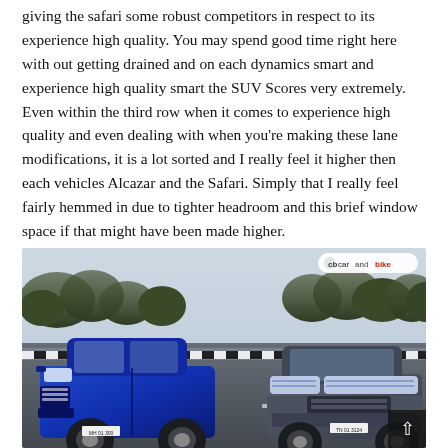giving the safari some robust competitors in respect to its experience high quality. You may spend good time right here with out getting drained and on each dynamics smart and experience high quality smart the SUV Scores very extremely. Even within the third row when it comes to experience high quality and even dealing with when you're making these lane modifications, it is a lot sorted and I really feel it higher then each vehicles Alcazar and the Safari. Simply that I really feel fairly hemmed in due to tighter headroom and this brief window space if that might have been made higher.
[Figure (photo): Two SUVs driving on a road — a blue Mahindra XUV700 on the left and a dark grey Hyundai Alcazar on the right, with trees in the background. carandbike watermark in top right corner.]